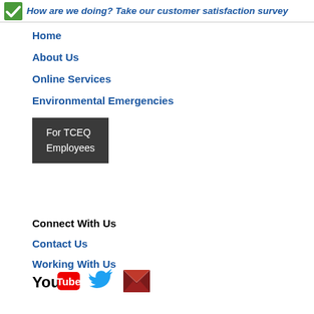How are we doing? Take our customer satisfaction survey
Home
About Us
Online Services
Environmental Emergencies
For TCEQ Employees
Connect With Us
Contact Us
Working With Us
[Figure (logo): YouTube logo]
[Figure (logo): Twitter bird icon]
[Figure (logo): Email envelope icon]